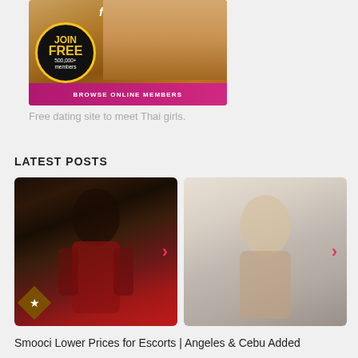[Figure (illustration): Dating site advertisement banner showing a smiling Asian woman with JOIN FREE badge, 500,000+ members text, and BROWSE ONLINE MEMBERS pink banner at the bottom. Website logo visible at top.]
Free dating site to meet Thai girls.
LATEST POSTS
[Figure (photo): Young Asian woman in red outfit posing indoors, with a pink right arrow and a diamond star icon overlay]
[Figure (photo): Smiling blonde young woman in striped top sitting on a bed, with a pink right arrow overlay]
Smooci Lower Prices for Escorts | Angeles & Cebu Added